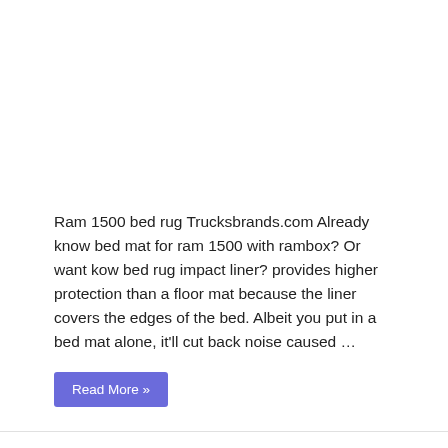Ram 1500 bed rug Trucksbrands.com Already know bed mat for ram 1500 with rambox? Or want kow bed rug impact liner? provides higher protection than a floor mat because the liner covers the edges of the bed. Albeit you put in a bed mat alone, it'll cut back noise caused …
Read More »
Bedrug Truck Bed Liner Products You